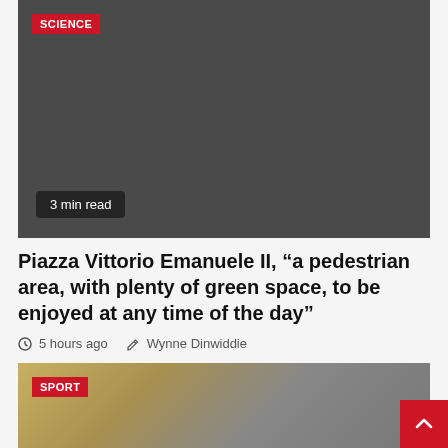[Figure (photo): Dark grey image with SCIENCE badge label in top-left corner and '3 min read' badge at bottom-left]
Piazza Vittorio Emanuele II, “a pedestrian area, with plenty of green space, to be enjoyed at any time of the day”
⏰ 5 hours ago  ✎ Wynne Dinwiddie
[Figure (photo): Sports photo of soccer/football players with SPORT badge label in top-left corner]